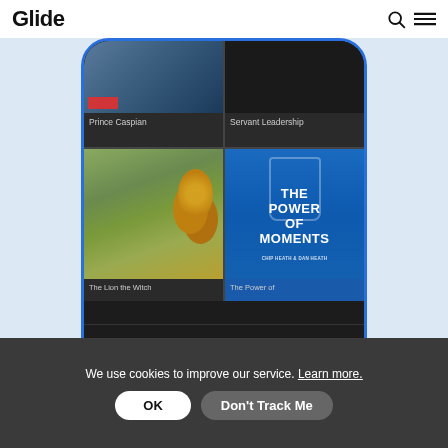Glide
[Figure (screenshot): Mobile app screenshot of a book reading app showing book covers including Prince Caspian, Servant Leadership, The Lion the Witch, and The Power of Moments, with bottom navigation tabs for Books, Book Notes, and Summaries]
We use cookies to improve our service. Learn more.
OK
Don't Track Me